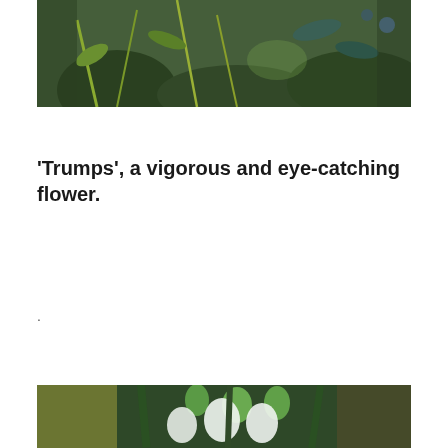[Figure (photo): Top portion of a photo showing plants with green foliage and stems against a dark background]
'Trumps', a vigorous and eye-catching flower.
.
[Figure (photo): Close-up photo of snowdrop flowers (Galanthus) with white drooping petals and green tips, clustered together with dark green strap-like leaves]